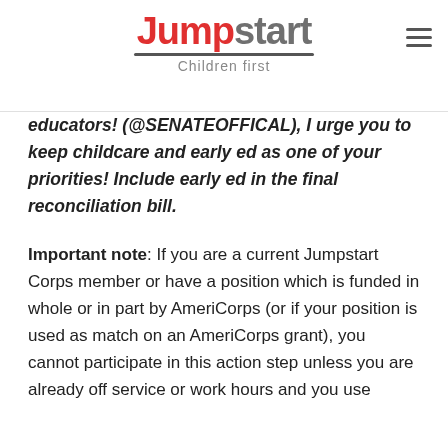Jumpstart | Children first
educators! (@SENATEOFFICAL), I urge you to keep childcare and early ed as one of your priorities! Include early ed in the final reconciliation bill.
Important note: If you are a current Jumpstart Corps member or have a position which is funded in whole or in part by AmeriCorps (or if your position is used as match on an AmeriCorps grant), you cannot participate in this action step unless you are already off service or work hours and you use